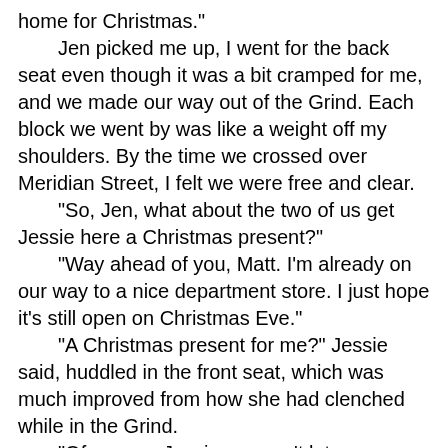home for Christmas."
    Jen picked me up, I went for the back seat even though it was a bit cramped for me, and we made our way out of the Grind. Each block we went by was like a weight off my shoulders. By the time we crossed over Meridian Street, I felt we were free and clear.
    "So, Jen, what about the two of us get Jessie here a Christmas present?"
    "Way ahead of you, Matt. I'm already on our way to a nice department store. I just hope it's still open on Christmas Eve."
    "A Christmas present for me?" Jessie said, huddled in the front seat, which was much improved from how she had clenched while in the Grind.
    "Of course, Jessie, we can't let you go home looking like that. We'll get you looking nice again." Jen told the girl.
    "There's always at least one open late for those guys who can never remember to buy early. And Jessie, you don't need to tell your family what all you've been doing while you've been gone if you don't want to. Take your time to figure it out, but right now you enjoy Christmas."
    "I—thank you. Thank you both so much."